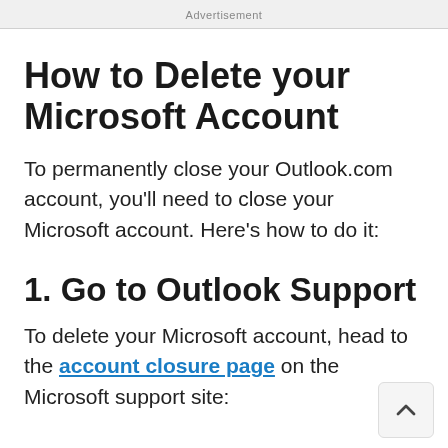Advertisement
How to Delete your Microsoft Account
To permanently close your Outlook.com account, you'll need to close your Microsoft account. Here's how to do it:
1. Go to Outlook Support
To delete your Microsoft account, head to the account closure page on the Microsoft support site: